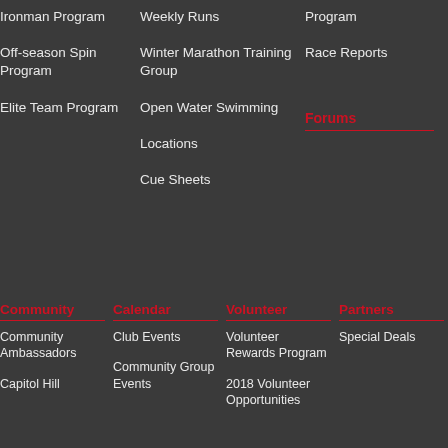Ironman Program
Off-season Spin Program
Elite Team Program
Weekly Runs
Winter Marathon Training Group
Open Water Swimming
Locations
Cue Sheets
Program
Race Reports
Forums
Community
Calendar
Volunteer
Partners
Community Ambassadors
Capitol Hill
Club Events
Community Group Events
Volunteer Rewards Program
2018 Volunteer Opportunities
Special Deals